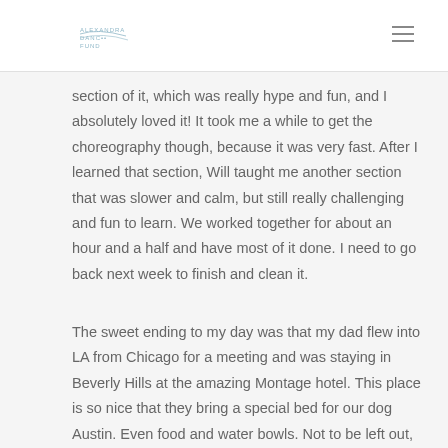section of it, which was really hype and fun, and I absolutely loved it! It took me a while to get the choreography though, because it was very fast. After I learned that section, Will taught me another section that was slower and calm, but still really challenging and fun to learn. We worked together for about an hour and a half and have most of it done. I need to go back next week to finish and clean it.
The sweet ending to my day was that my dad flew into LA from Chicago for a meeting and was staying in Beverly Hills at the amazing Montage hotel. This place is so nice that they bring a special bed for our dog Austin. Even food and water bowls. Not to be left out, they bring me chocolate and other fun kids stuff. My dad was traveling all week, so it was a great surprise to meet up with him. The only tough part was that we had to get up at 4 am to get home in time for